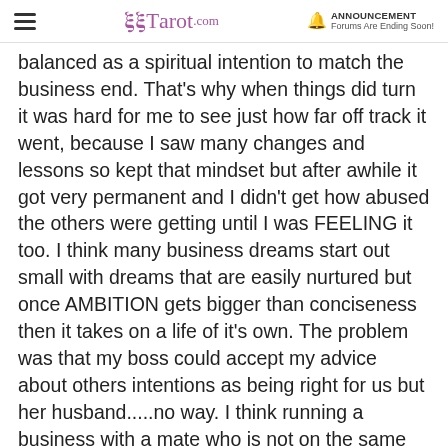Tarot.com | ANNOUNCEMENT Forums Are Ending Soon!
balanced as a spiritual intention to match the business end. That's why when things did turn it was hard for me to see just how far off track it went, because I saw many changes and lessons so kept that mindset but after awhile it got very permanent and I didn't get how abused the others were getting until I was FEELING it too. I think many business dreams start out small with dreams that are easily nurtured but once AMBITION gets bigger than conciseness then it takes on a life of it's own. The problem was that my boss could accept my advice about others intentions as being right for us but her husband.....no way. I think running a business with a mate who is not on the same page is a recipe for failure. And I see how my boss was aware to a degree that her mate was not getting along with the employees and she exploited me.....new if I worked under him I would be loyal